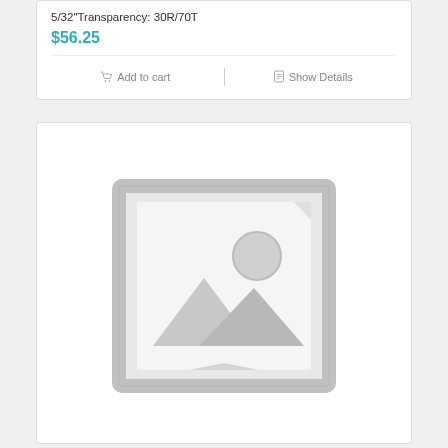5/32" Transparency: 30R/70T
$56.25
Add to cart
Show Details
[Figure (illustration): Placeholder image with a picture frame icon showing a landscape silhouette and sun, gray tones indicating no product image available]